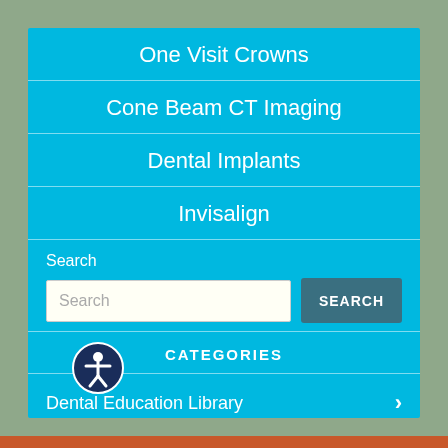One Visit Crowns
Cone Beam CT Imaging
Dental Implants
Invisalign
Search
CATEGORIES
Dental Education Library